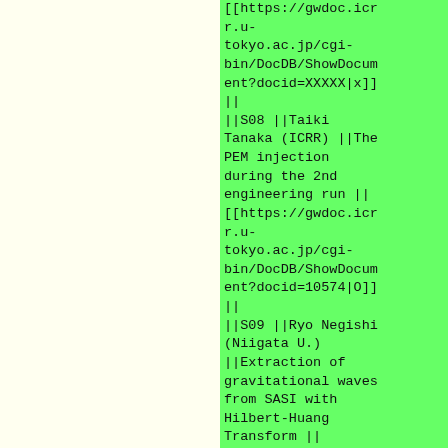[[https://gwdoc.icrr.u-tokyo.ac.jp/cgi-bin/DocDB/ShowDocument?docid=XXXXX|x]]
||
||S08 ||Taiki Tanaka (ICRR) ||The PEM injection during the 2nd engineering run || [[https://gwdoc.icrr.u-tokyo.ac.jp/cgi-bin/DocDB/ShowDocument?docid=10574|O]]
||
||S09 ||Ryo Negishi (Niigata U.) ||Extraction of gravitational waves from SASI with Hilbert-Huang Transform || [[https://gwdoc.icrr.u-tokyo.ac.jp/cgi-bin/DocDB/ShowDocument?docid=XXXXX|x]]